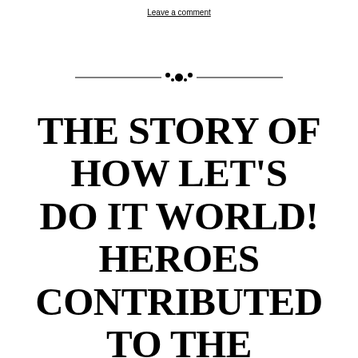Leave a comment
[Figure (illustration): Decorative horizontal divider with a floral/ornamental centerpiece and thin lines extending on both sides]
The Story of How Let's Do It World! Heroes Contributed to the Dream